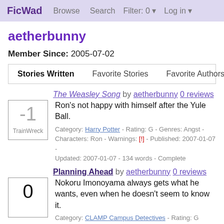FicWad  Browse  Search  Filter: 0 ▼  Log in ▼
aetherbunny
Member Since: 2005-07-02
| Stories Written | Favorite Stories | Favorite Authors |
| --- | --- | --- |
The Weasley Song by aetherbunny 0 reviews
Ron's not happy with himself after the Yule Ball.
Category: Harry Potter - Rating: G - Genres: Angst - Characters: Ron - Warnings: [!] - Published: 2007-01-07 - Updated: 2007-01-07 - 134 words - Complete
Planning Ahead by aetherbunny 0 reviews
Nokoru Imonoyama always gets what he wants, even when he doesn't seem to know it.
Category: CLAMP Campus Detectives - Rating: G